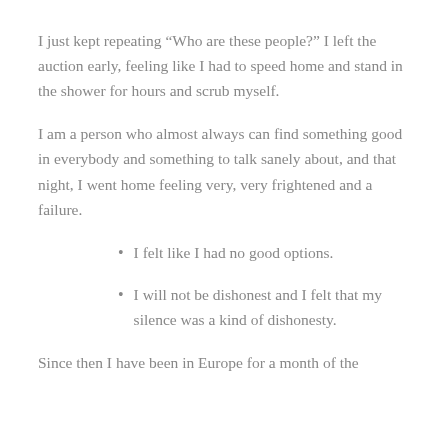I just kept repeating “Who are these people?” I left the auction early, feeling like I had to speed home and stand in the shower for hours and scrub myself.
I am a person who almost always can find something good in everybody and something to talk sanely about, and that night, I went home feeling very, very frightened and a failure.
I felt like I had no good options.
I will not be dishonest and I felt that my silence was a kind of dishonesty.
Since then I have been in Europe for a month of the